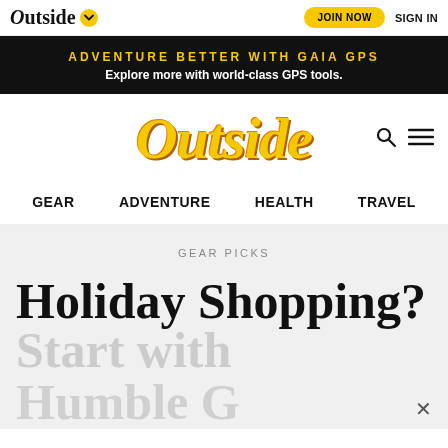Outside | JOIN NOW | SIGN IN
[Figure (screenshot): Black banner advertisement for Gaia GPS with yellow text 'ADVENTURE BETTER WITH GAIA GPS' and white subtext 'Explore more with world-class GPS tools.']
Outside
GEAR   ADVENTURE   HEALTH   TRAVEL
GEAR PICKS
Holiday Shopping? Start with